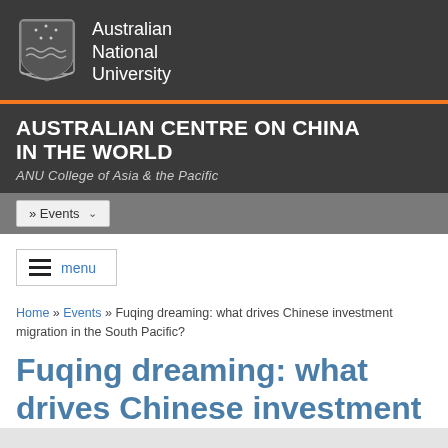Australian National University — Australian Centre on China in the World — ANU College of Asia & the Pacific
» Events
menu
Home » Events » Fuqing dreaming: what drives Chinese investment migration in the South Pacific?
Fuqing dreaming: what drives Chinese investment migration in the South Pacific?